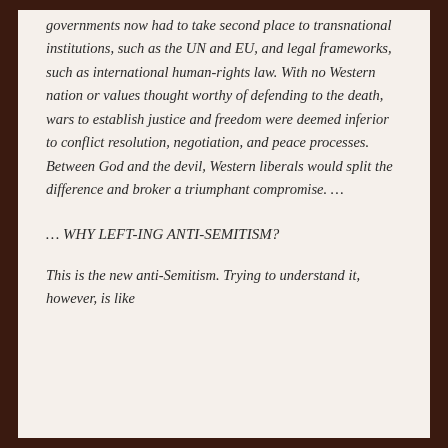governments now had to take second place to transnational institutions, such as the UN and EU, and legal frameworks, such as international human-rights law. With no Western nation or values thought worthy of defending to the death, wars to establish justice and freedom were deemed inferior to conflict resolution, negotiation, and peace processes. Between God and the devil, Western liberals would split the difference and broker a triumphant compromise. …
… WHY LEFT-ING ANTI-SEMITISM?
This is the new anti-Semitism. Trying to understand it, however, is like